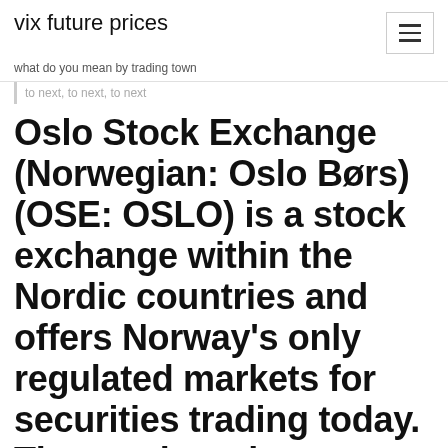vix future prices
what do you mean by trading town
to next, to next, to next
Oslo Stock Exchange (Norwegian: Oslo Børs) (OSE: OSLO) is a stock exchange within the Nordic countries and offers Norway's only regulated markets for securities trading today. The stock exchange offers a full product range